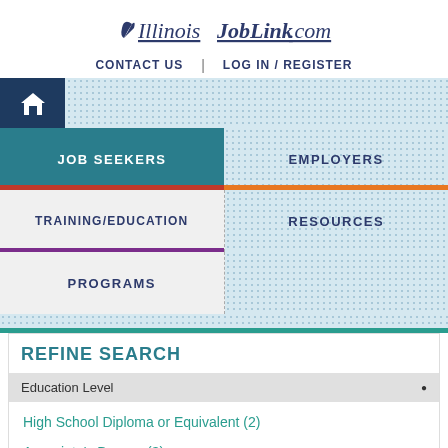IllinoisJobLink.com
CONTACT US | LOG IN / REGISTER
[Figure (screenshot): Navigation menu with home icon, Job Seekers, Employers, Training/Education, Resources, Programs tabs]
REFINE SEARCH
Education Level
High School Diploma or Equivalent (2)
Associate's Degree (3)